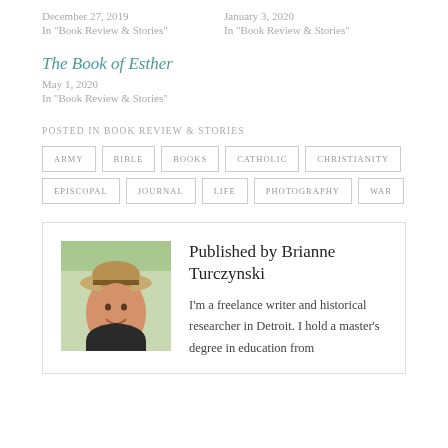December 27, 2019
In "Book Review & Stories"
January 3, 2020
In "Book Review & Stories"
The Book of Esther
May 1, 2020
In "Book Review & Stories"
POSTED IN BOOK REVIEW & STORIES
ARMY
BIBLE
BOOKS
CATHOLIC
CHRISTIANITY
EPISCOPAL
JOURNAL
LIFE
PHOTOGRAPHY
WAR
Published by Brianne Turczynski
I'm a freelance writer and historical researcher in Detroit. I hold a master's degree in education from